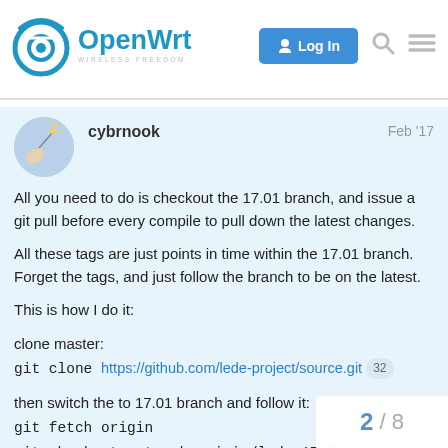[Figure (logo): OpenWrt logo with wireless signal icon and 'WIRELESS FREEDOM' tagline]
cybrnook    Feb '17
[Figure (illustration): User avatar - hand holding a magic wand illustration on blue circular background]
All you need to do is checkout the 17.01 branch, and issue a git pull before every compile to pull down the latest changes.
All these tags are just points in time within the 17.01 branch. Forget the tags, and just follow the branch to be on the latest.
This is how I do it:
clone master:
git clone https://github.com/lede-project/source.git 32
then switch the to 17.01 branch and follow it:
git fetch origin
git checkout --track origin/lede-17.01
Then pull your packages and compile after menu setup.
2 / 8